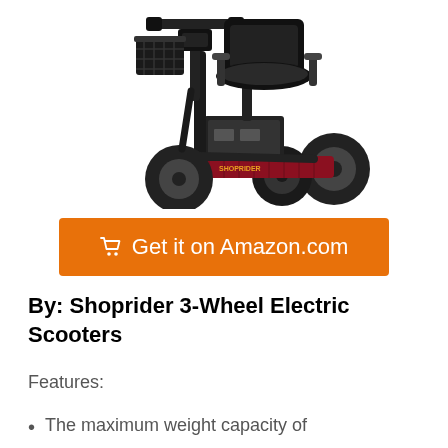[Figure (photo): A Shoprider 3-wheel electric mobility scooter in dark red/maroon color with black frame, front basket, padded seat, and large wheels. Viewed from a front-right angle on white background.]
🛒 Get it on Amazon.com
By: Shoprider 3-Wheel Electric Scooters
Features:
The maximum weight capacity of